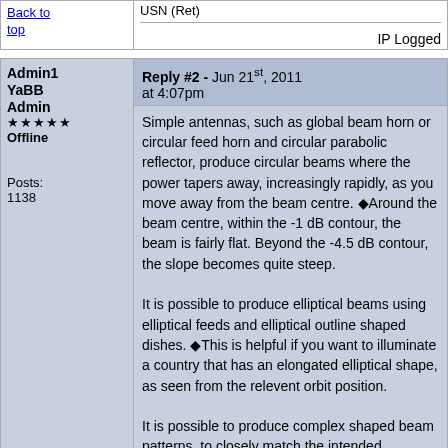USN (Ret)
IP Logged
Back to top
Admin1
YaBB Admin
★★★★★
Offline
Posts: 1138
Reply #2 - Jun 21st, 2011 at 4:07pm
Simple antennas, such as global beam horn or circular feed horn and circular parabolic reflector, produce circular beams where the power tapers away, increasingly rapidly, as you move away from the beam centre. ◆Around the beam centre, within the -1 dB contour, the beam is fairly flat. Beyond the -4.5 dB contour, the slope becomes quite steep.

It is possible to produce elliptical beams using elliptical feeds and elliptical outline shaped dishes. ◆This is helpful if you want to illuminate a country that has an elongated elliptical shape, as seen from the relevent orbit position.

It is possible to produce complex shaped beam patterns, to closely match the intended territorial area, by either having a parabolic dish plus